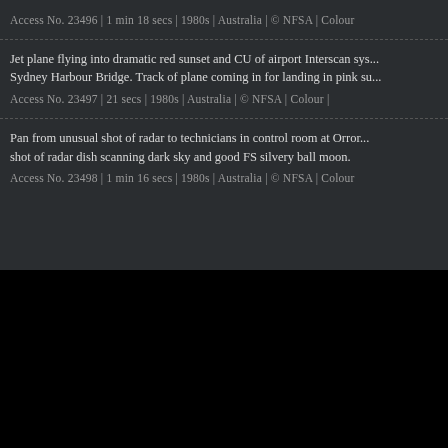Access No. 23496 | 1 min 18 secs | 1980s | Australia | © NFSA | Colour
Jet plane flying into dramatic red sunset and CU of airport Interscan system. Sydney Harbour Bridge. Track of plane coming in for landing in pink su...
Access No. 23497 | 21 secs | 1980s | Australia | © NFSA | Colour |
Pan from unusual shot of radar to technicians in control room at Orror... shot of radar dish scanning dark sky and good FS silvery ball moon.
Access No. 23498 | 1 min 16 secs | 1980s | Australia | © NFSA | Colour
[Figure (logo): NFSA logo — white bird/cockatoo silhouette facing left and white bold text 'NFSA' on black background]